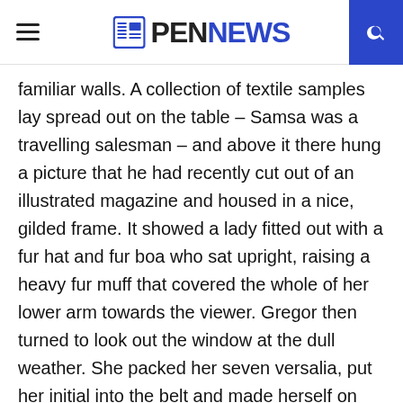PENNEWS
familiar walls. A collection of textile samples lay spread out on the table – Samsa was a travelling salesman – and above it there hung a picture that he had recently cut out of an illustrated magazine and housed in a nice, gilded frame. It showed a lady fitted out with a fur hat and fur boa who sat upright, raising a heavy fur muff that covered the whole of her lower arm towards the viewer. Gregor then turned to look out the window at the dull weather. She packed her seven versalia, put her initial into the belt and made herself on the way.
One morning, when Gregor Samsa woke from troubled dreams, he found himself transformed in his bed into a horrible vermin. He lay on his armour-like back, and if he lifted his head a little he could see his brown belly, slightly domed and divided by arches into stiff sections.